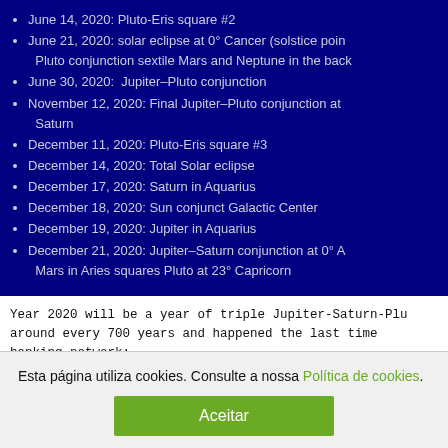June 14, 2020: Pluto-Eris square #2
June 21, 2020: solar eclipse at 0° Cancer (solstice point); Pluto conjunction sextile Mars and Neptune in the back
June 30, 2020:  Jupiter–Pluto conjunction
November 12, 2020: Final Jupiter–Pluto conjunction at Saturn
December 11, 2020: Pluto-Eris square #3
December 14, 2020: Total Solar eclipse
December 17, 2020: Saturn in Aquarius
December 18, 2020: Sun conjunct Galactic Center
December 19, 2020: Jupiter in Aquarius
December 21, 2020: Jupiter–Saturn conjunction at 0° A; Mars in Aries squares Pluto at 23° Capricorn
Year 2020 will be a year of triple Jupiter-Saturn-Plu around every 700 years and happened the last time banking network:
Esta página utiliza cookies. Consulte a nossa Política de cookies.
Aceitar